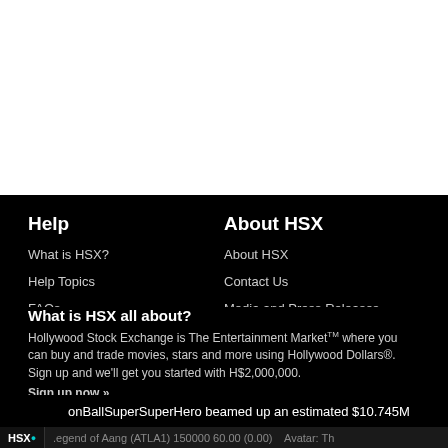Help
What is HSX?
Help Topics
FAQs
Glossary
About HSX
About HSX
Contact Us
Media and Press Releases
Privacy Policy | Terms of Use
What is HSX all about?
Hollywood Stock Exchange is The Entertainment Market™ where you can buy and trade movies, stars and more using Hollywood Dollars®. Sign up and we'll get you started with H$2,000,000.
Sign up now »
DragonBallSuperSuperHero beamed up an estimated $10.745M
HSX  .egend of Aang (ATLA1) 150000 60.00 (0.00)   Avatar: Th